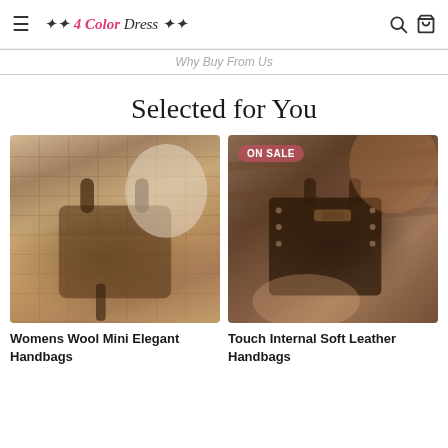4 Color Dress
Why Buy From Us
Selected for You
[Figure (photo): Woman holding a brown woven wool mini handbag with wooden handles, seated on a wooden floor]
Womens Wool Mini Elegant Handbags
[Figure (photo): Woman holding a dark brown soft leather structured handbag with buckle detail, with ON SALE badge]
Touch Internal Soft Leather Handbags